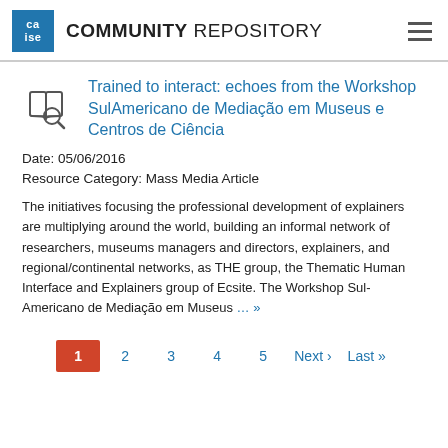COMMUNITY REPOSITORY
Trained to interact: echoes from the Workshop SulAmericano de Mediação em Museus e Centros de Ciência
Date: 05/06/2016
Resource Category: Mass Media Article
The initiatives focusing the professional development of explainers are multiplying around the world, building an informal network of researchers, museums managers and directors, explainers, and regional/continental networks, as THE group, the Thematic Human Interface and Explainers group of Ecsite. The Workshop Sul-Americano de Mediação em Museus ... »